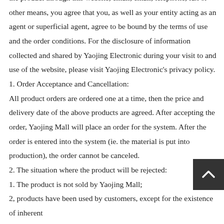the product through this website, email, email, telephone, fax or other means, you agree that you, as well as your entity acting as an agent or superficial agent, agree to be bound by the terms of use and the order conditions. For the disclosure of information collected and shared by Yaojing Electronic during your visit to and use of the website, please visit Yaojing Electronic's privacy policy.
1. Order Acceptance and Cancellation:
All product orders are ordered one at a time, then the price and delivery date of the above products are agreed. After accepting the order, Yaojing Mall will place an order for the system. After the order is entered into the system (ie. the material is put into production), the order cannot be canceled.
2. The situation where the product will be rejected:
1. The product is not sold by Yaojing Mall;
2, products have been used by customers, except for the existence of inherent